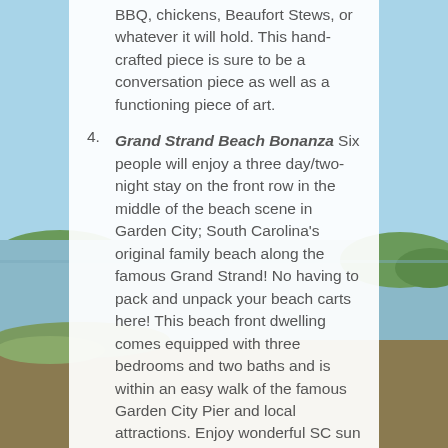BBQ, chickens, Beaufort Stews, or whatever it will hold. This hand-crafted piece is sure to be a conversation piece as well as a functioning piece of art.
Grand Strand Beach Bonanza Six people will enjoy a three day/two-night stay on the front row in the middle of the beach scene in Garden City; South Carolina's original family beach along the famous Grand Strand! No having to pack and unpack your beach carts here! This beach front dwelling comes equipped with three bedrooms and two baths and is within an easy walk of the famous Garden City Pier and local attractions. Enjoy wonderful SC sun rises over the ocean each morning and romantic strolls in the evening with the sand beneath your toes. Must be scheduled on a mutually agreeable